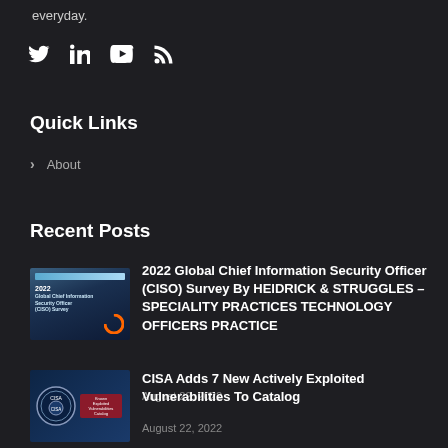everyday.
[Figure (other): Social media icons: Twitter, LinkedIn, YouTube, RSS feed]
Quick Links
About
Recent Posts
[Figure (other): Thumbnail image for 2022 Global Chief Information Security Officer (CISO) Survey report cover]
2022 Global Chief Information Security Officer (CISO) Survey By HEIDRICK & STRUGGLES – SPECIALITY PRACTICES TECHNOLOGY OFFICERS PRACTICE
August 22, 2022
[Figure (other): Thumbnail image showing CISA seal and an actively exploited vulnerabilities catalog card]
CISA Adds 7 New Actively Exploited Vulnerabilities To Catalog
August 22, 2022